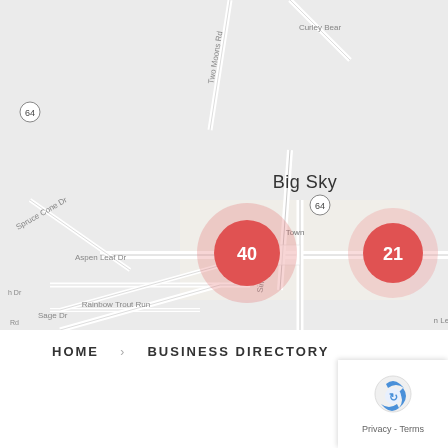[Figure (map): Google Maps view of Big Sky, Montana area showing three cluster markers: orange-red cluster with '40', orange cluster with '21', purple cluster with '9', and a Bozeman Health Big Sky Medical popup marker.]
HOME  >  BUSINESS DIRECTORY
[Figure (other): Google reCAPTCHA privacy badge with Privacy - Terms links]